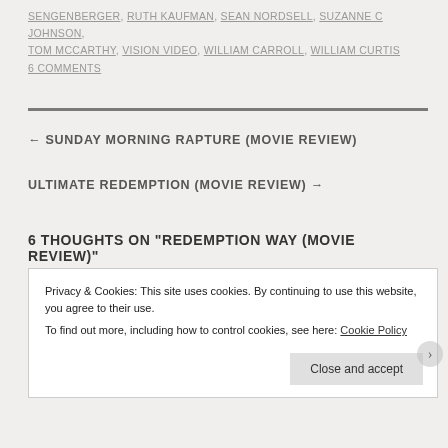SENGENBERGER, RUTH KAUFMAN, SEAN NORDSELL, SUZANNE C JOHNSON, TOM MCCARTHY, VISION VIDEO, WILLIAM CARROLL, WILLIAM CURTIS
6 COMMENTS
← SUNDAY MORNING RAPTURE (MOVIE REVIEW)
ULTIMATE REDEMPTION (MOVIE REVIEW) →
6 THOUGHTS ON "REDEMPTION WAY (MOVIE REVIEW)"
Privacy & Cookies: This site uses cookies. By continuing to use this website, you agree to their use. To find out more, including how to control cookies, see here: Cookie Policy
Close and accept